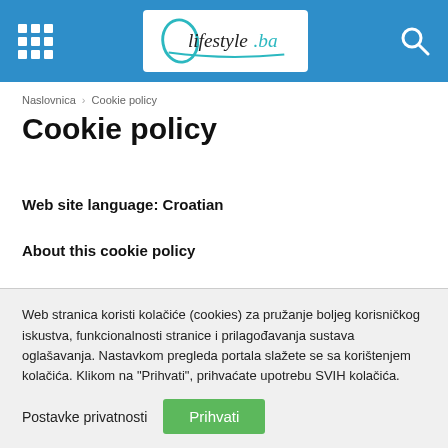lifestyle.ba — header with grid menu and search icon
Naslovnica > Cookie policy
Cookie policy
Web site language: Croatian
About this cookie policy
This Cookie Policy explains what cookies are and how we use them. You should read this policy to understand what cookies are, how we use them
Web stranica koristi kolačiće (cookies) za pružanje boljeg korisničkog iskustva, funkcionalnosti stranice i prilagođavanja sustava oglašavanja. Nastavkom pregleda portala slažete se sa korištenjem kolačića. Klikom na "Prihvati", prihvaćate upotrebu SVIH kolačića.
Postavke privatnosti  Prihvati